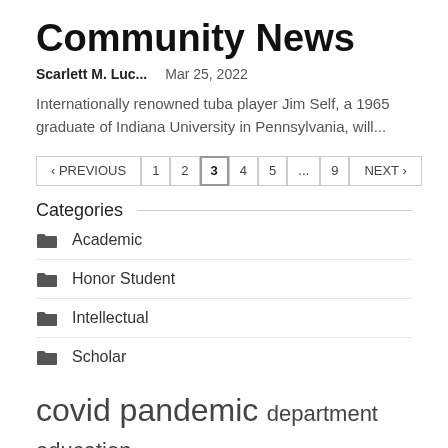Community News
Scarlett M. Luc...    Mar 25, 2022
Internationally renowned tuba player Jim Self, a 1965 graduate of Indiana University in Pennsylvania, will...
< PREVIOUS  1  2  3  4  5  ...  9  NEXT >
Categories
Academic
Honor Student
Intellectual
Scholar
covid pandemic  department education  federal student  higher education  higher intellectuaI...